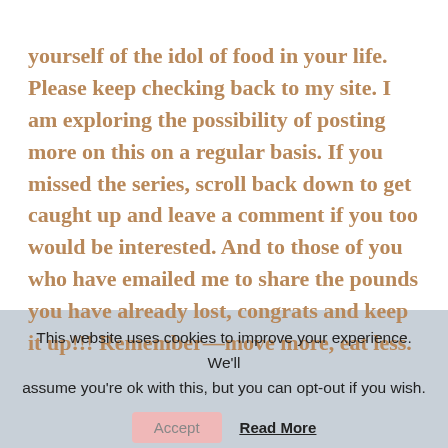yourself of the idol of food in your life. Please keep checking back to my site. I am exploring the possibility of posting more on this on a regular basis. If you missed the series, scroll back down to get caught up and leave a comment if you too would be interested. And to those of you who have emailed me to share the pounds you have already lost, congrats and keep it up!!! Remember—move more, eat less.
This website uses cookies to improve your experience. We'll assume you're ok with this, but you can opt-out if you wish.
Accept  Read More